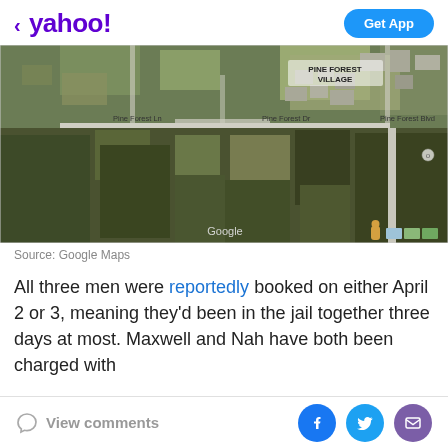< yahoo!    Get App
[Figure (map): Google Maps aerial/satellite view of Pine Forest Village area showing roads labeled Pine Forest Ln, Pine Forest Dr, Pine Forest Blvd, with wooded and developed land. Google watermark visible at bottom.]
Source: Google Maps
All three men were reportedly booked on either April 2 or 3, meaning they'd been in the jail together three days at most. Maxwell and Nah have both been charged with
View comments